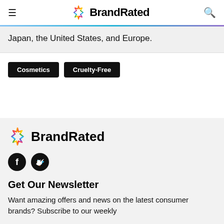BrandRated
Japan, the United States, and Europe.
Cosmetics
Cruelty-Free
[Figure (logo): BrandRated logo with colorful star icon and bold text]
[Figure (illustration): Facebook and Twitter social media icons (white on black circles)]
Get Our Newsletter
Want amazing offers and news on the latest consumer brands? Subscribe to our weekly